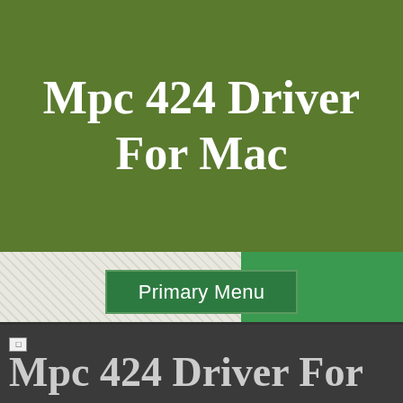Mpc 424 Driver For Mac
Primary Menu
[Figure (screenshot): Broken image icon placeholder in dark background area]
Mpc 424 Driver For Mac